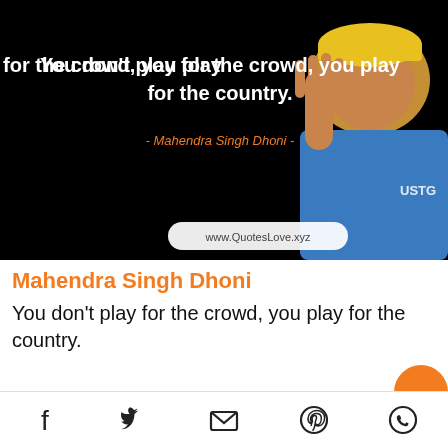[Figure (photo): Quote image with dark background showing Mahendra Singh Dhoni wearing a yellow cap and blue cricket jersey, waving. Text overlay: 'You don't play for the crowd, you play for the country.' and attribution '- Mahendra Singh Dhoni -' and watermark 'www.QuotesLove.xyz']
Mahendra Singh Dhoni
You don't play for the crowd, you play for the country.
Social share icons: Facebook, Twitter, Email, Pinterest, WhatsApp